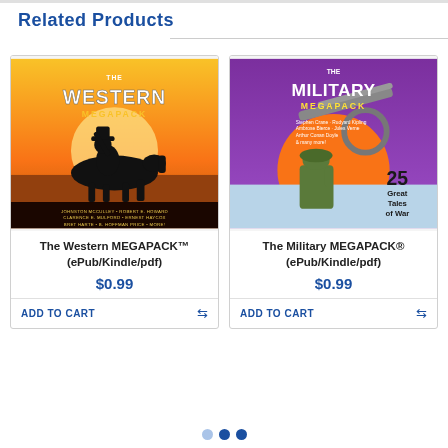Related Products
[Figure (illustration): Book cover for The Western MEGAPACK — cowboy on horseback silhouette against orange/yellow sunset sky, title text in large styled letters]
The Western MEGAPACK™ (ePub/Kindle/pdf)
$0.99
ADD TO CART
[Figure (illustration): Book cover for The Military MEGAPACK — soldier with rifle against purple and orange background, '25 Great Tales of War' text, authors listed]
The Military MEGAPACK® (ePub/Kindle/pdf)
$0.99
ADD TO CART